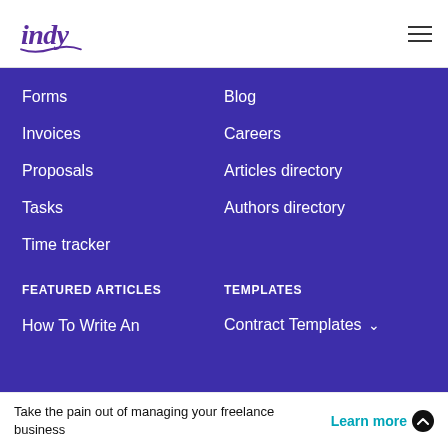indy [logo] [hamburger menu]
Forms
Blog
Invoices
Careers
Proposals
Articles directory
Tasks
Authors directory
Time tracker
FEATURED ARTICLES
TEMPLATES
How To Write An
Contract Templates ∨
Take the pain out of managing your freelance business   Learn more ^